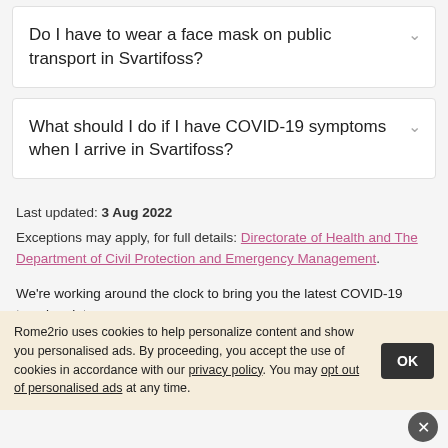Do I have to wear a face mask on public transport in Svartifoss?
What should I do if I have COVID-19 symptoms when I arrive in Svartifoss?
Last updated: 3 Aug 2022
Exceptions may apply, for full details: Directorate of Health and The Department of Civil Protection and Emergency Management.
We're working around the clock to bring you the latest COVID-19 travel updates.
This information is compiled from official sources. To the best of our
Rome2rio uses cookies to help personalize content and show you personalised ads. By proceeding, you accept the use of cookies in accordance with our privacy policy. You may opt out of personalised ads at any time.